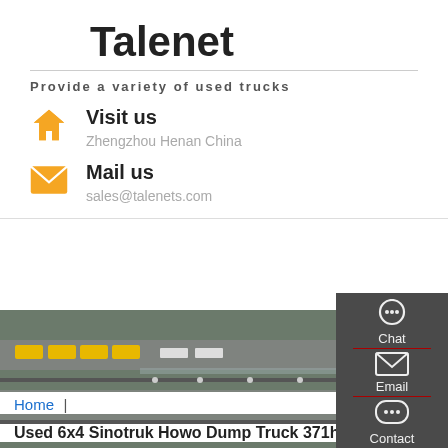Talenet
Provide a variety of used trucks
Visit us
Zhengzhou Henan China
Mail us
sales@talenets.com
[Figure (photo): Aerial view of a truck yard with yellow and white trucks parked in rows on a road/highway]
[Figure (infographic): Dark sidebar with Chat, Email, Contact, and Top navigation icons]
Home
Used 6x4 Sinotruk Howo Dump Truck 371hp 18 Cubic